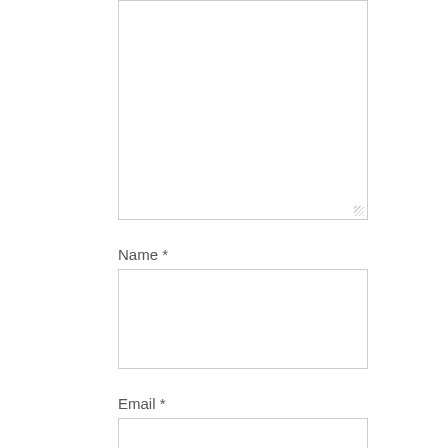[Figure (screenshot): A comment form with a large textarea at the top (partially visible), followed by a Name field with label 'Name *', an Email field with label 'Email *', and an orange POST COMMENT button.]
Name *
Email *
POST COMMENT